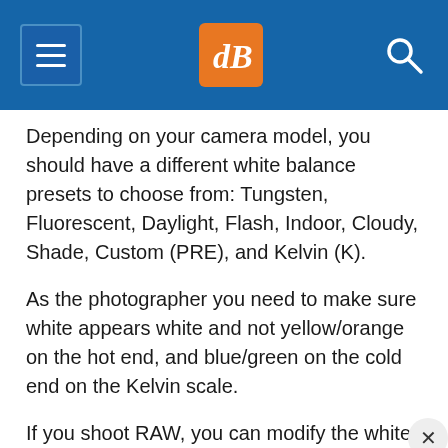dPS navigation header
Depending on your camera model, you should have a different white balance presets to choose from: Tungsten, Fluorescent, Daylight, Flash, Indoor, Cloudy, Shade, Custom (PRE), and Kelvin (K).
As the photographer you need to make sure white appears white and not yellow/orange on the hot end, and blue/green on the cold end on the Kelvin scale.
If you shoot RAW, you can modify the white